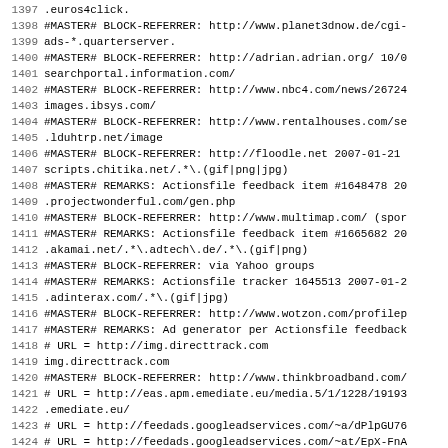Code/configuration file listing lines 1397-1428, showing URL blocking rules with MASTER# BLOCK-REFERRER and REMARKS entries for ad/tracker domains.